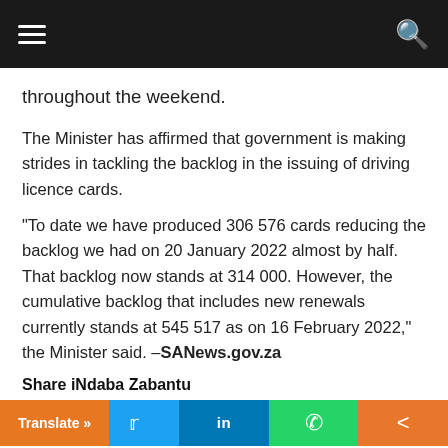SANews.gov.za navigation bar
throughout the weekend.
The Minister has affirmed that government is making strides in tackling the backlog in the issuing of driving licence cards.
“To date we have produced 306 576 cards reducing the backlog we had on 20 January 2022 almost by half. That backlog now stands at 314 000. However, the cumulative backlog that includes new renewals currently stands at 545 517 as on 16 February 2022,” the Minister said. –SANews.gov.za
Share iNdaba Zabantu